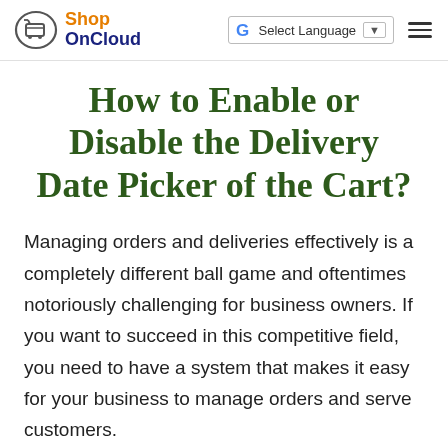Shop On Cloud | Select Language
How to Enable or Disable the Delivery Date Picker of the Cart?
Managing orders and deliveries effectively is a completely different ball game and oftentimes notoriously challenging for business owners. If you want to succeed in this competitive field, you need to have a system that makes it easy for your business to manage orders and serve customers.